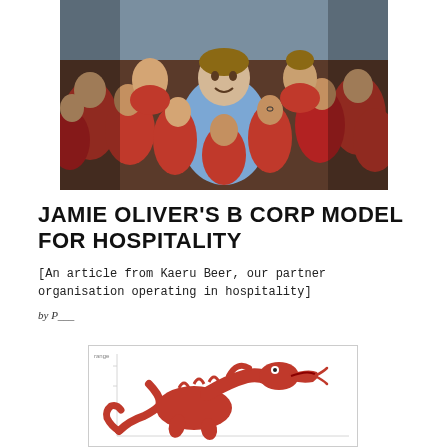[Figure (photo): Jamie Oliver surrounded by a group of children in red school uniforms, smiling and crowding around him]
JAMIE OLIVER'S B CORP MODEL FOR HOSPITALITY
[An article from Kaeru Beer, our partner organisation operating in hospitality]
by P___
[Figure (illustration): Red dinosaur / dragon illustration on white background with axis lines visible, appears to be Kaeru Beer logo or graphic]